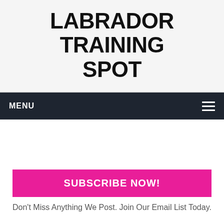LABRADOR TRAINING SPOT
MENU
[Figure (other): Advertisement placeholder white space]
SUBSCRIBE NOW!
Don't Miss Anything We Post. Join Our Email List Today.
A LABRADOR WITH A PECULIAR GENETIC CONDITION
[Figure (photo): Bottom image strip showing dogs/labrador photos]